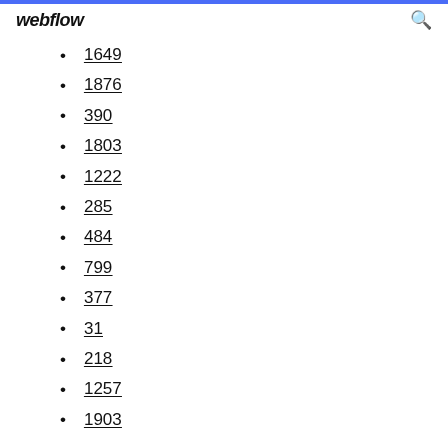webflow
1649
1876
390
1803
1222
285
484
799
377
31
218
1257
1903